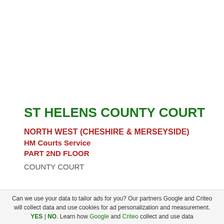ST HELENS COUNTY COURT
NORTH WEST (CHESHIRE & MERSEYSIDE)
HM Courts Service
PART 2ND FLOOR
COUNTY COURT
ST HELENS COUNTY COURT
NORTH WEST (CHESHIRE & MERSEYSIDE)
Can we use your data to tailor ads for you? Our partners Google and Criteo will collect data and use cookies for ad personalization and measurement. YES | NO. Learn how Google and Criteo collect and use data